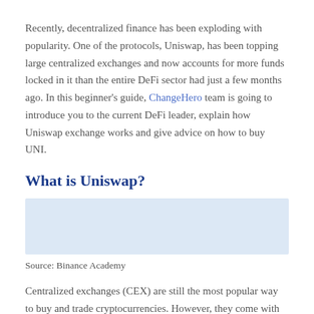Recently, decentralized finance has been exploding with popularity. One of the protocols, Uniswap, has been topping large centralized exchanges and now accounts for more funds locked in it than the entire DeFi sector had just a few months ago. In this beginner's guide, ChangeHero team is going to introduce you to the current DeFi leader, explain how Uniswap exchange works and give advice on how to buy UNI.
What is Uniswap?
[Figure (other): Light blue placeholder image block, likely a chart or graphic from Binance Academy]
Source: Binance Academy
Centralized exchanges (CEX) are still the most popular way to buy and trade cryptocurrencies. However, they come with regional restrictions, account management and sometimes even security issues. When the second generation of blockchains that